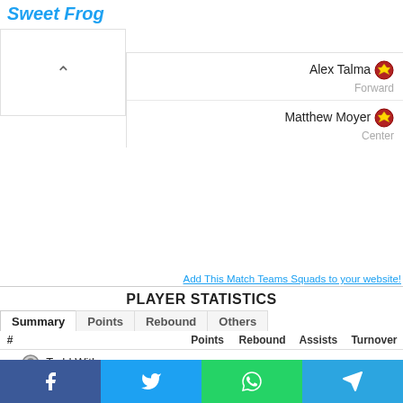Sweet Frog
Alex Talma Forward
Matthew Moyer Center
Add This Match Teams Squads to your website!
PLAYER STATISTICS
| # |  | Points | Rebound | Assists | Turnover |
| --- | --- | --- | --- | --- | --- |
|  | Todd Withers | 13 | 4 | 1 | 1 |
|  | Keith Williams | 24 | 3 | 2 | 2 |
|  | Tray Boyd-3 | 13 | 3 | 3 | 4 |
|  | Josh Aitcheson | 5 | 6 | 4 | 1 |
|  | Sam Timmins | 14 | 14 | 0 | 2 |
|  | Robert Coman | 0 | 0 | 0 | 0 |